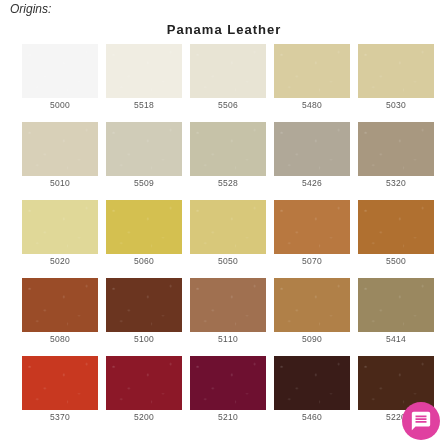Origins:
Panama Leather
[Figure (other): Color swatch grid for Panama Leather showing 25 leather color samples arranged in 5 columns and 5 rows, each with a code label: Row 1: 5000 (white), 5518 (cream), 5506 (light cream), 5480 (light beige gold), 5030 (warm beige); Row 2: 5010 (pale beige), 5509 (light grey-cream), 5528 (grey-cream), 5426 (warm grey), 5320 (taupe); Row 3: 5020 (pale yellow), 5060 (golden yellow), 5050 (pale gold), 5070 (medium brown), 5500 (tan brown); Row 4: 5080 (reddish brown), 5100 (dark brown), 5110 (medium brown-tan), 5090 (caramel), 5414 (khaki brown); Row 5: 5370 (red-orange), 5200 (dark red), 5210 (wine/burgundy), 5460 (very dark brown), 5220 (dark brown)]